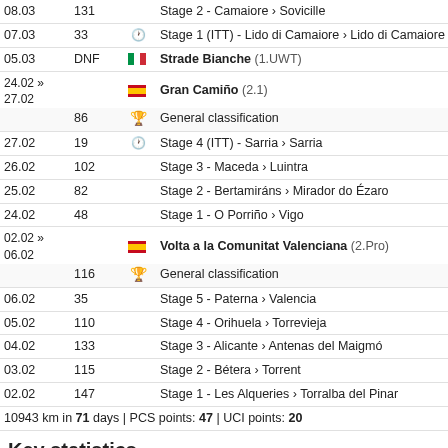| Date | Pos | Icon | Race/Stage |
| --- | --- | --- | --- |
| 08.03 | 131 |  | Stage 2 - Camaiore › Sovicille |
| 07.03 | 33 | clock | Stage 1 (ITT) - Lido di Camaiore › Lido di Camaiore |
| 05.03 | DNF | flag-it | Strade Bianche (1.UWT) |
| 24.02 » 27.02 |  | flag-es | Gran Camiño (2.1) |
|  | 86 | gc | General classification |
| 27.02 | 19 | clock | Stage 4 (ITT) - Sarria › Sarria |
| 26.02 | 102 |  | Stage 3 - Maceda › Luintra |
| 25.02 | 82 |  | Stage 2 - Bertamiráns › Mirador do Ézaro |
| 24.02 | 48 |  | Stage 1 - O Porriño › Vigo |
| 02.02 » 06.02 |  | flag-es | Volta a la Comunitat Valenciana (2.Pro) |
|  | 116 | gc | General classification |
| 06.02 | 35 |  | Stage 5 - Paterna › Valencia |
| 05.02 | 110 |  | Stage 4 - Orihuela › Torrevieja |
| 04.02 | 133 |  | Stage 3 - Alicante › Antenas del Maigmó |
| 03.02 | 115 |  | Stage 2 - Bétera › Torrent |
| 02.02 | 147 |  | Stage 1 - Les Alqueries › Torralba del Pinar |
10943 km in 71 days | PCS points: 47 | UCI points: 20
Key statistics
18 Wins GC (0) Oneday races (10) ITT (13)